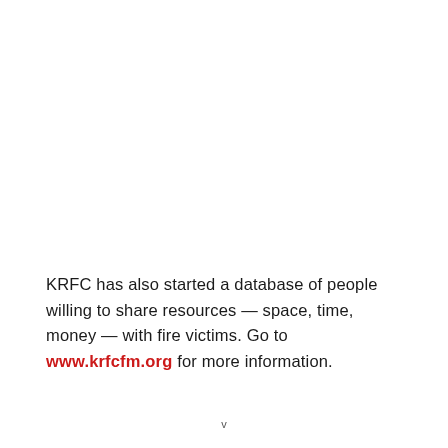KRFC has also started a database of people willing to share resources — space, time, money — with fire victims. Go to www.krfcfm.org for more information.
v